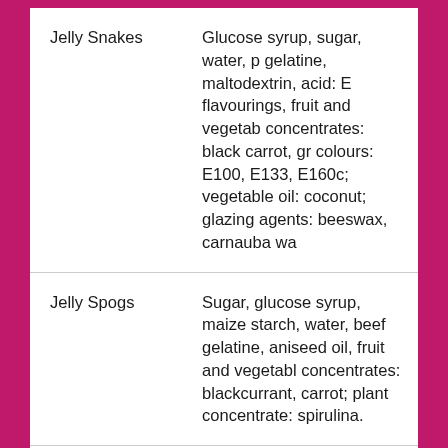| Product | Ingredients |
| --- | --- |
| Jelly Snakes | Glucose syrup, sugar, water, p gelatine, maltodextrin, acid: E flavourings, fruit and vegetab concentrates: black carrot, gr colours: E100, E133, E160c; vegetable oil: coconut; glazing agents: beeswax, carnauba wa |
| Jelly Spogs | Sugar, glucose syrup, maize starch, water, beef gelatine, aniseed oil, fruit and vegetabl concentrates: blackcurrant, carrot; plant concentrate: spirulina. |
| Kola Cubes | Sugar, glucose syrup, acid: cit acid; natural flavouring, colou |